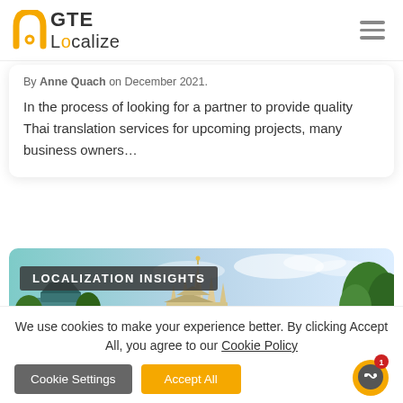GTE Localize
By Anne Quach on December 2021.
In the process of looking for a partner to provide quality Thai translation services for upcoming projects, many business owners...
[Figure (photo): Temple/wat photo with LOCALIZATION INSIGHTS label overlay]
We use cookies to make your experience better. By clicking Accept All, you agree to our Cookie Policy
Cookie Settings  Accept All